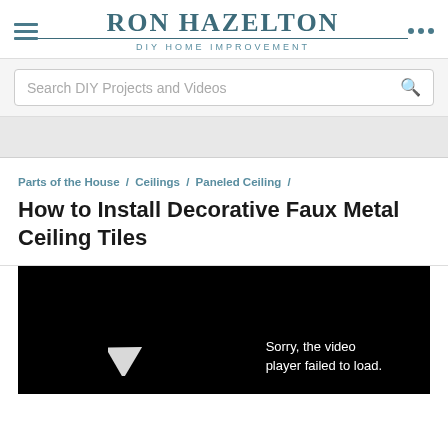RON HAZELTON — DIY HOME IMPROVEMENT
Search DIY Projects and Videos
Parts of the House / Ceilings / Paneled Ceiling /
How to Install Decorative Faux Metal Ceiling Tiles
[Figure (screenshot): Black video player area with a play button arrow icon and the text 'Sorry, the video player failed to load.']